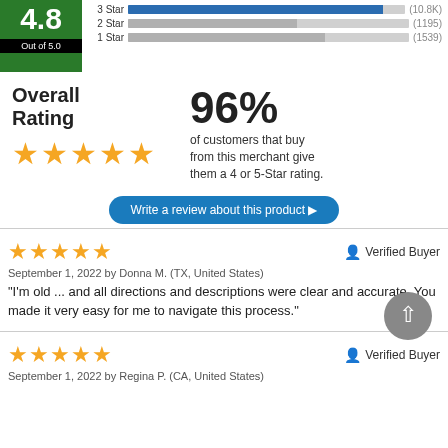[Figure (bar-chart): Star ratings distribution]
4.8
Out of 5.0
Overall Rating
96%
of customers that buy from this merchant give them a 4 or 5-Star rating.
Write a review about this product ▶
★★★★★
Verified Buyer
September 1, 2022 by Donna M. (TX, United States)
"I'm old ... and all directions and descriptions were clear and accurate. You made it very easy for me to navigate this process."
★★★★★
Verified Buyer
September 1, 2022 by Regina P. (CA, United States)